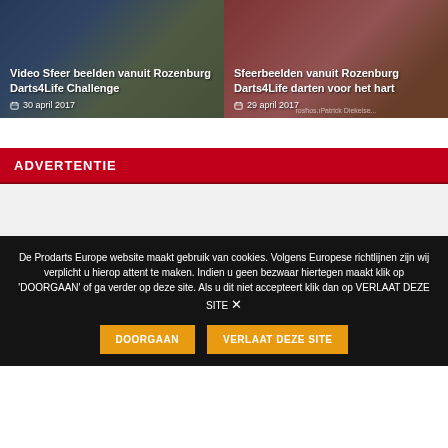[Figure (photo): Two news cards side by side: left card shows crowd at Rozenburg Darts4Life Challenge with text overlay, right card shows colorful dartboard/people at Rozenburg Darts4Life event]
Video Sfeer beelden vanuit Rozenburg Darts4Life Challenge
30 april 2017
Sfeerbeelden vanuit Rozenburg Darts4Life darten voor het hart
29 april 2017
ADVERTENTIE
[Figure (other): Gray advertisement placeholder area]
De Prodarts Europe website maakt gebruik van cookies. Volgens Europese richtlijnen zijn wij verplicht u hierop attent te maken. Indien u geen bezwaar hiertegen maakt klik op 'DOORGAAN' of ga verder op deze site. Als u dit niet accepteert klik dan op VERLAAT DEZE SITE
DOORGAAN
VERLAAT DEZE SITE